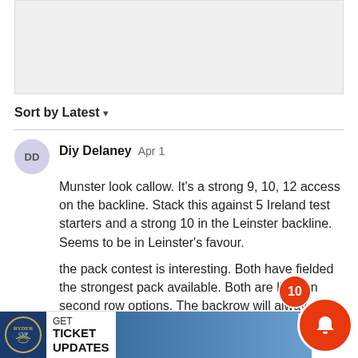[Figure (other): Advertisement placeholder banner, light gray background]
Sort by Latest ▾
Diy Delaney Apr 1
Munster look callow. It's a strong 9, 10, 12 access on the backline. Stack this against 5 Ireland test starters and a strong 10 in the Leinster backline. Seems to be in Leinster's favour.
the pack contest is interesting. Both have fielded the strongest pack available. Both are light on second row options. The backrow will always be a dog fight. Le... should shade that. But… Leinster's
[Figure (other): Ryder Cup advertisement banner at the bottom: GET TICKET UPDATES with logo and photo of golfers]